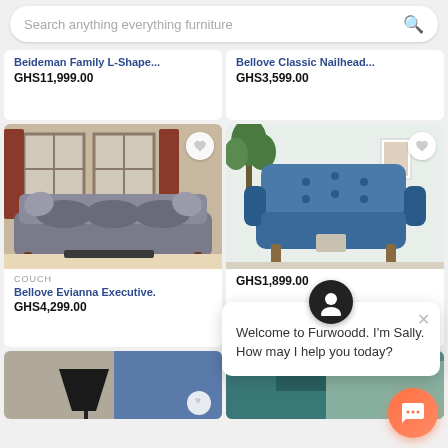[Figure (screenshot): Mobile app search bar for furniture e-commerce site Furwoodd]
Beideman Family L-Shape...
GHS11,999.00
Bellove Classic Nailhead...
GHS3,599.00
[Figure (photo): Gray tufted Chesterfield sofa in a room with large windows and curtains]
[Figure (photo): Blue tufted accent armchair with wooden legs in a modern living room]
COUCH
Bellove Evianna Executive.
GHS4,299.00
GHS1,899.00
Welcome to Furwoodd. I'm Sally. How may I help you today?
[Figure (photo): Partial view of a dark floor lamp and blue fabric item]
[Figure (photo): Partial view of a teal/green decorative item]